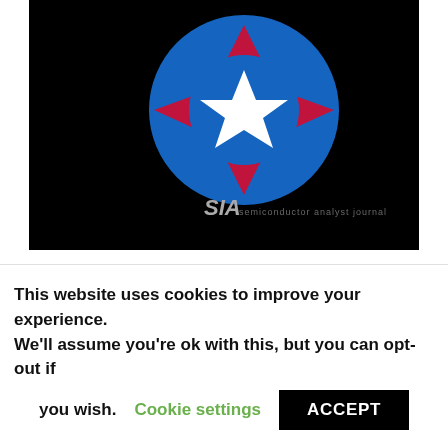[Figure (logo): Book cover image on black background featuring a circular logo with blue and red/crimson segments and a white star in the center, with 'SIA' text and subtitle text at the bottom.]
Editions de Physique ; New York: Wave mechanics applied to semiconductor heterostructures by Gerald Bastard. Year 3 3 2 5 11 Show tk Les Ulis
This website uses cookies to improve your experience. We'll assume you're ok with this, but you can opt-out if you wish. Cookie settings ACCEPT